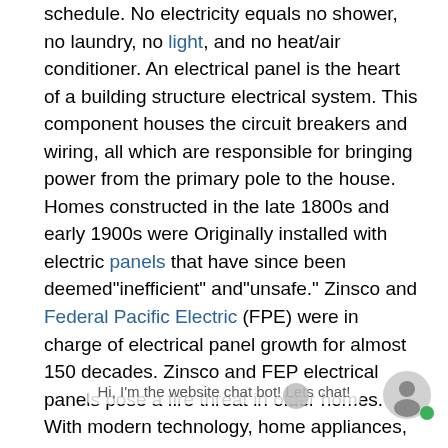schedule. No electricity equals no shower, no laundry, no light, and no heat/air conditioner. An electrical panel is the heart of a building structure electrical system. This component houses the circuit breakers and wiring, all which are responsible for bringing power from the primary pole to the house. Homes constructed in the late 1800s and early 1900s were Originally installed with electric panels that have since been deemed"inefficient" and"unsafe." Zinsco and Federal Pacific Electric (FPE) were in charge of electrical panel growth for almost 150 decades. Zinsco and FEP electrical panels pose a fire threat in older homes. With modern technology, home appliances, electronic equipment, and other electricity-powered devices have come a very long way. Today, most of these gadgets utilize between 100 and 1500 watts of power. FEP and Zinsco electrical can no longer keep up with the modern house's electricity requirements. These electrical panels need to be replaced with a General Electric, Square D,